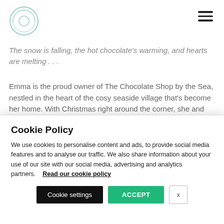[Figure (logo): Circular logo with text around the edge, teal/mint color, website header logo]
The snow is falling, the hot chocolate's warming, and hearts are melting . . .
Emma is the proud owner of The Chocolate Shop by the Sea, nestled in the heart of the cosy seaside village that’s become her home. With Christmas right around the corner, she and her assistant Holly are busy cooking up the locals’ festive favourites
Cookie Policy
We use cookies to personalise content and ads, to provide social media features and to analyse our traffic. We also share information about your use of our site with our social media, advertising and analytics partners.   Read our cookie policy
Cookie settings   ACCEPT   x